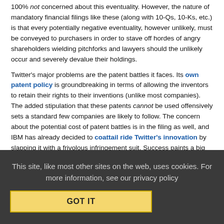100% not concerned about this eventuality. However, the nature of mandatory financial filings like these (along with 10-Qs, 10-Ks, etc.) is that every potentially negative eventuality, however unlikely, must be conveyed to purchasers in order to stave off hordes of angry shareholders wielding pitchforks and lawyers should the unlikely occur and severely devalue their holdings.
Twitter's major problems are the patent battles it faces. Its own patent policy is groundbreaking in terms of allowing the inventors to retain their rights to their inventions (unlike most companies). The added stipulation that these patents cannot be used offensively sets a standard few companies are likely to follow. The concern about the potential cost of patent battles is in the filing as well, and IBM has already decided to coattail ride Twitter's innovation by slapping it with a frivolous infringement suit. Success paints a big target on your back, as Twitter points out in its filing.
This site, like most other sites on the web, uses cookies. For more information, see our privacy policy